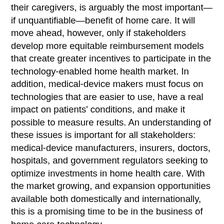their caregivers, is arguably the most important—if unquantifiable—benefit of home care. It will move ahead, however, only if stakeholders develop more equitable reimbursement models that create greater incentives to participate in the technology-enabled home health market. In addition, medical-device makers must focus on technologies that are easier to use, have a real impact on patients' conditions, and make it possible to measure results. An understanding of these issues is important for all stakeholders: medical-device manufacturers, insurers, doctors, hospitals, and government regulators seeking to optimize investments in home health care. With the market growing, and expansion opportunities available both domestically and internationally, this is a promising time to be in the business of home care technology.
Where technology-enabled home care can help
The goal of technology-enabled home care—the delivery of health diagnostics or therapeutics in a patient's home—is to prevent or reduce the need for institutional care, alleviating the financial and emotional burden upon society and individuals. It noted that their initiative to home care is ill...